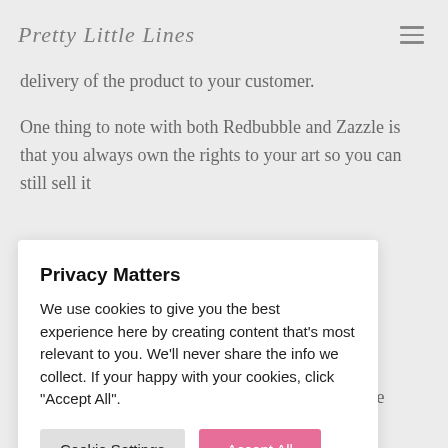Pretty Little Lines
delivery of the product to your customer.
One thing to note with both Redbubble and Zazzle is that you always own the rights to your art so you can still sell it
Privacy Matters
We use cookies to give you the best experience here by creating content that's most relevant to you. We'll never share the info we collect. If your happy with your cookies, click "Accept All".
emand to check out. One of the benefits of